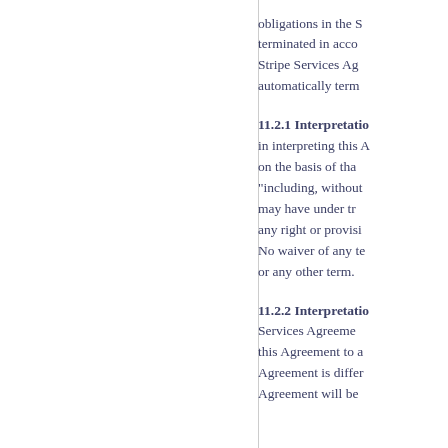obligations in the S... terminated in acco... Stripe Services Ag... automatically term...
11.2.1 Interpretatio... in interpreting this A... on the basis of tha... "including, without ... may have under tra... any right or provisi... No waiver of any te... or any other term.
11.2.2 Interpretatio... Services Agreeme... this Agreement to a... Agreement is differ... Agreement will be...